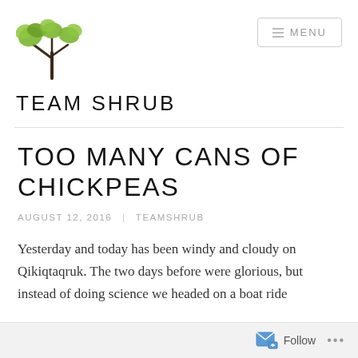[Figure (logo): Team Shrub logo: stylized tree with green leafy canopy and dark brown trunk, hand-drawn style]
TEAM SHRUB
[Figure (other): MENU button with hamburger icon lines, top right corner]
TOO MANY CANS OF CHICKPEAS
AUGUST 12, 2016 | TEAMSHRUB
Yesterday and today has been windy and cloudy on Qikiqtaqruk. The two days before were glorious, but instead of doing science we headed on a boat ride
Follow ...